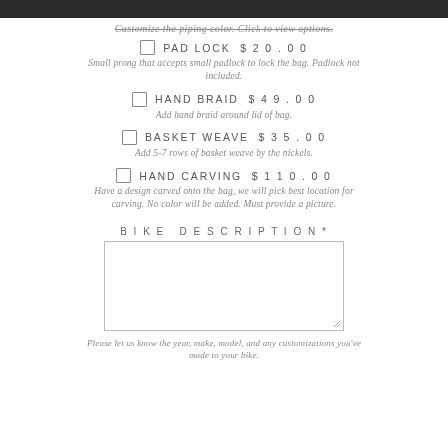Customize the piping color. Click to view options.
PAD LOCK $ 20.00 — Small prong that accepts small padlock to lock the bag. Padlock not included.
HAND BRAID $ 49.00 — Add hand braid around lid of bag.
BASKET WEAVE $ 35.00 — Add 5-7 rows of basket weave by the nickels.
HAND CARVING $ 110.00 — Have a design carved onto the bag, we will pick best location for carving. No color will be added. Must provide a picture.
BIKE DESCRIPTION*
Please let us know the year, make, model, and any customizations you've made to your bike.